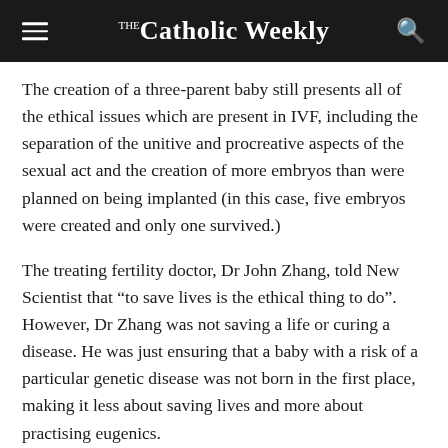The Catholic Weekly
The creation of a three-parent baby still presents all of the ethical issues which are present in IVF, including the separation of the unitive and procreative aspects of the sexual act and the creation of more embryos than were planned on being implanted (in this case, five embryos were created and only one survived.)
The treating fertility doctor, Dr John Zhang, told New Scientist that “to save lives is the ethical thing to do”. However, Dr Zhang was not saving a life or curing a disease. He was just ensuring that a baby with a risk of a particular genetic disease was not born in the first place, making it less about saving lives and more about practising eugenics.
The next ethical issue overlooked is that there is no way of telling along the procreation, to right affect f...